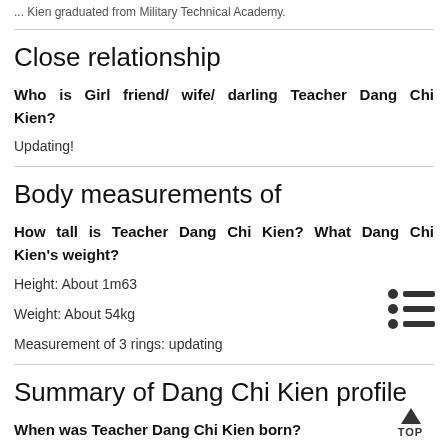... Kien graduated from Military Technical Academy.
Close relationship
Who is Girl friend/ wife/ darling Teacher Dang Chi Kien?
Updating!
Body measurements of
How tall is Teacher Dang Chi Kien? What Dang Chi Kien's weight?
Height: About 1m63
Weight: About 54kg
Measurement of 3 rings: updating
Summary of Dang Chi Kien profile
When was Teacher Dang Chi Kien born?